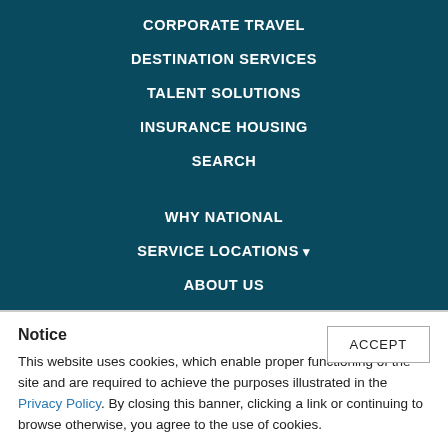CORPORATE TRAVEL
DESTINATION SERVICES
TALENT SOLUTIONS
INSURANCE HOUSING
SEARCH
WHY NATIONAL
SERVICE LOCATIONS ▾
ABOUT US
Notice
This website uses cookies, which enable proper functioning of the site and are required to achieve the purposes illustrated in the Privacy Policy. By closing this banner, clicking a link or continuing to browse otherwise, you agree to the use of cookies.